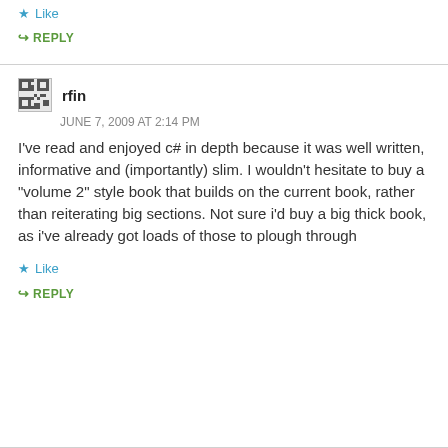★ Like
↪ REPLY
rfin
JUNE 7, 2009 AT 2:14 PM
I've read and enjoyed c# in depth because it was well written, informative and (importantly) slim. I wouldn't hesitate to buy a "volume 2" style book that builds on the current book, rather than reiterating big sections. Not sure i'd buy a big thick book, as i've already got loads of those to plough through
★ Like
↪ REPLY